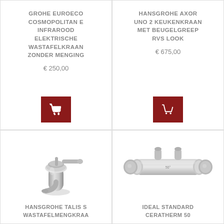GROHE EUROECO COSMOPOLITAN E INFRAROOD ELEKTRISCHE WASTAFELKRAAN ZONDER MENGING
€ 250,00
HANSGROHE AXOR UNO 2 KEUKENKRAAN MET BEUGELGREEP RVS LOOK
€ 675,00
[Figure (photo): Chrome bathroom basin mixer tap (Hansgrohe Talis S)]
HANSGROHE TALIS S WASTAFELMENGKRAA
[Figure (photo): Chrome thermostatic shower bar valve (Ideal Standard Ceratherm 50)]
IDEAL STANDARD CERATHERM 50